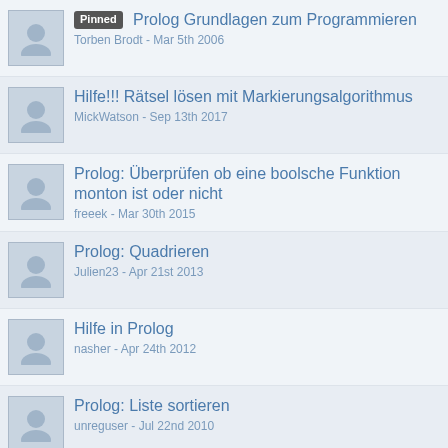Pinned Prolog Grundlagen zum Programmieren
Torben Brodt - Mar 5th 2006
Hilfe!!! Rätsel lösen mit Markierungsalgorithmus
MickWatson - Sep 13th 2017
Prolog: Überprüfen ob eine boolsche Funktion monton ist oder nicht
freeek - Mar 30th 2015
Prolog: Quadrieren
Julien23 - Apr 21st 2013
Hilfe in Prolog
nasher - Apr 24th 2012
Prolog: Liste sortieren
unreguser - Jul 22nd 2010
PROLOG Problem
Ganjafarmer - Jul 19th 2010
Arbeiten mit Listen in Haskell
Kiloui - Jun 6th 2010
ggT mit Prolog